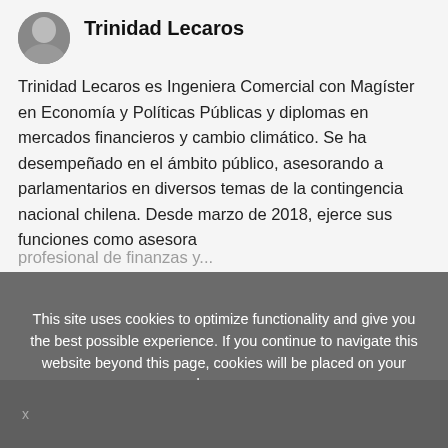Trinidad Lecaros
Trinidad Lecaros es Ingeniera Comercial con Magíster en Economía y Políticas Públicas y diplomas en mercados financieros y cambio climático. Se ha desempeñado en el ámbito público, asesorando a parlamentarios en diversos temas de la contingencia nacional chilena. Desde marzo de 2018, ejerce sus funciones como asesora
This site uses cookies to optimize functionality and give you the best possible experience. If you continue to navigate this website beyond this page, cookies will be placed on your browser.
To learn more about cookies, click here
x